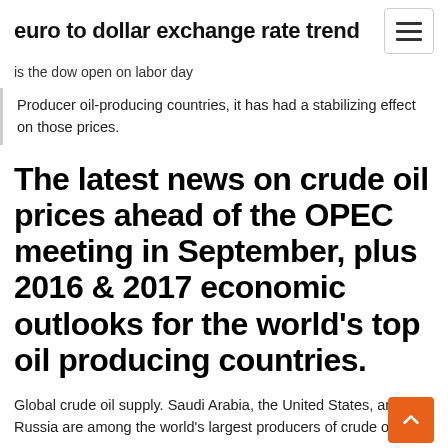euro to dollar exchange rate trend
is the dow open on labor day
Producer oil-producing countries, it has had a stabilizing effect on those prices.
The latest news on crude oil prices ahead of the OPEC meeting in September, plus 2016 & 2017 economic outlooks for the world's top oil producing countries.
Global crude oil supply. Saudi Arabia, the United States, and Russia are among the world's largest producers of crude oil,